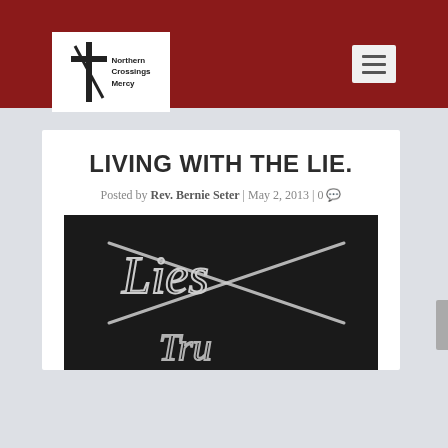Northern Crossings Mercy
LIVING WITH THE LIE.
Posted by Rev. Bernie Seter | May 2, 2013 | 0
[Figure (photo): Chalkboard with the word 'Lies' written in chalk and crossed out with an X, and partial text below it.]